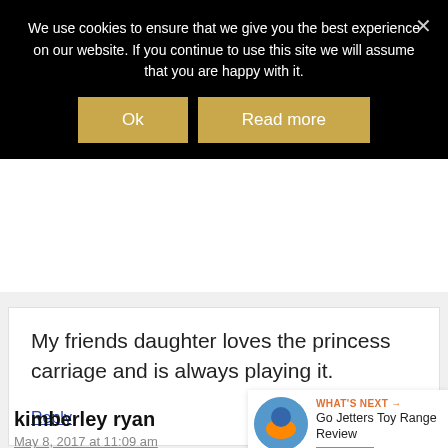We use cookies to ensure that we give you the best experience on our website. If you continue to use this site we will assume that you are happy with it.
My friends daughter loves the princess carriage and is always playing it.
Reply
kimberley ryan
May 8, 2017 at 11:09 am
WHAT'S NEXT → Go Jetters Toy Range Review